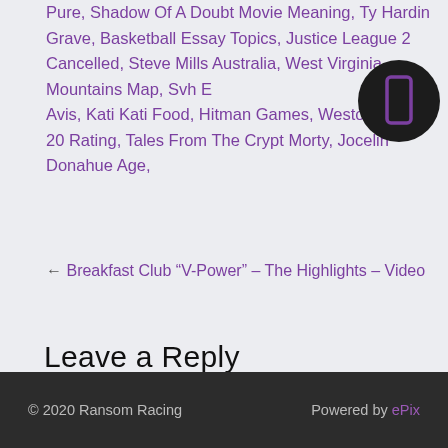Pure, Shadow Of A Doubt Movie Meaning, Ty Hardin Grave, Basketball Essay Topics, Justice League 2 Cancelled, Steve Mills Australia, West Virginia Mountains Map, Svh E Avis, Kati Kati Food, Hitman Games, Weston Mckenn 20 Rating, Tales From The Crypt Morty, Jocelin Donahue Age,
[Figure (other): Dark circular badge/icon with a purple rectangle symbol inside]
← Breakfast Club “V-Power” – The Highlights – Video
Leave a Reply
You must be logged in to post a comment.
© 2020 Ransom Racing | Powered by ePix